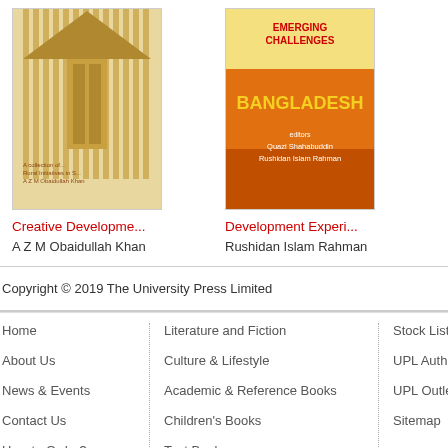[Figure (illustration): Book cover: Creative Development... by A Z M Obaidullah Khan, gold/brown striped vertical lines design]
Creative Developme...
A Z M Obaidullah Khan
[Figure (illustration): Book cover: Development Experi... by Rushidan Islam Rahman, Bangladesh Emerging Challenges, orange and yellow design]
Development Experi...
Rushidan Islam Rahman
Copyright © 2019 The University Press Limited
Home
About Us
News & Events
Contact Us
How to Order?
Literature and Fiction
Culture & Lifestyle
Academic & Reference Books
Children's Books
Text Books
Bangladesh Liberation War
Stock List...
UPL Authe...
UPL Outle...
Sitemap